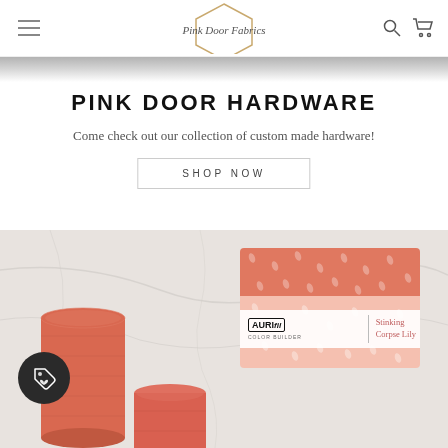Pink Door Fabrics
PINK DOOR HARDWARE
Come check out our collection of custom made hardware!
SHOP NOW
[Figure (photo): Aurifil Color Builder thread box labeled 'Stinking Corpse Lily' with coral/salmon colored thread spools on a marble surface, with a dark circular tag badge icon in the lower left]